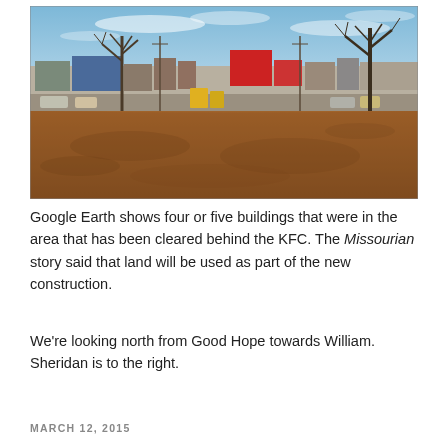[Figure (photo): Outdoor photograph showing a large cleared dirt lot in the foreground, with bare winter trees and commercial buildings including a KFC visible in the background under a partly cloudy sky.]
Google Earth shows four or five buildings that were in the area that has been cleared behind the KFC. The Missourian story said that land will be used as part of the new construction.
We're looking north from Good Hope towards William. Sheridan is to the right.
MARCH 12, 2015